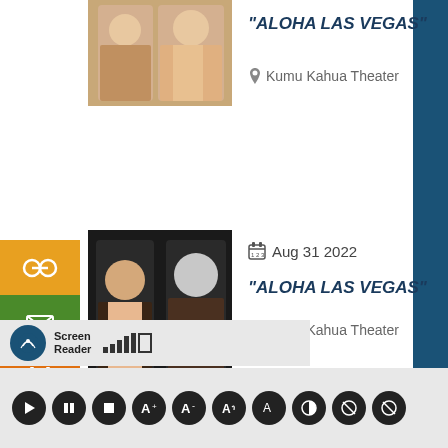[Figure (photo): Photo of two people, event image for Aloha Las Vegas, first occurrence]
“ALOHA LAS VEGAS”
Kumu Kahua Theater
[Figure (photo): Photo of two people on dark background, event image for Aloha Las Vegas, Aug 31 2022]
Aug 31 2022
“ALOHA LAS VEGAS”
Kumu Kahua Theater
SEPTEMBER 2022
[Figure (screenshot): Screen Reader accessibility toolbar with audio controls]
Screen Reader accessibility controls bar